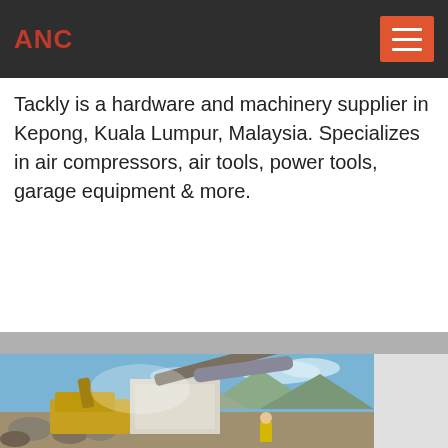ANC
Tackly is a hardware and machinery supplier in Kepong, Kuala Lumpur, Malaysia. Specializes in air compressors, air tools, power tools, garage equipment & more.
[Figure (screenshot): Live Chat bubble widget with speech bubble icon and 'Live Chat' text, with a small X close button]
[Figure (photo): Outdoor industrial machinery scene with large yellow excavator or construction equipment, conveyor belt, and a worker in yellow safety gear amid rubble, with mountains and blue sky in background]